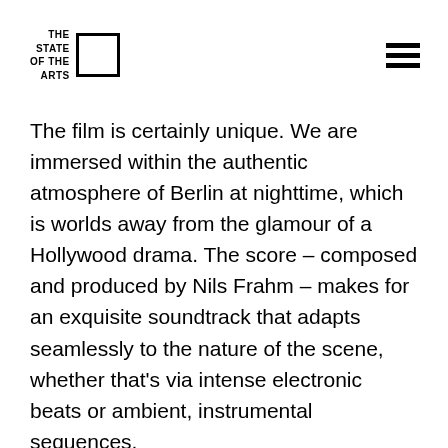THE STATE OF THE ARTS
The film is certainly unique. We are immersed within the authentic atmosphere of Berlin at nighttime, which is worlds away from the glamour of a Hollywood drama. The score – composed and produced by Nils Frahm – makes for an exquisite soundtrack that adapts seamlessly to the nature of the scene, whether that's via intense electronic beats or ambient, instrumental sequences.
At times, the plot of the film is somewhat implausible, yet the team must be credited for filming the entire thing across 22 neighborhoods and in the